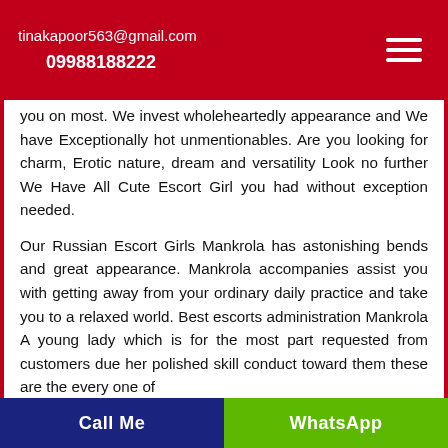tinakapoor563@gmail.com
09988188222
you on most. We invest wholeheartedly appearance and We have Exceptionally hot unmentionables. Are you looking for charm, Erotic nature, dream and versatility Look no further We Have All Cute Escort Girl you had without exception needed.
Our Russian Escort Girls Mankrola has astonishing bends and great appearance. Mankrola accompanies assist you with getting away from your ordinary daily practice and take you to a relaxed world. Best escorts administration Mankrola A young lady which is for the most part requested from customers due her polished skill conduct toward them these are the every one of
Call Me   WhatsApp